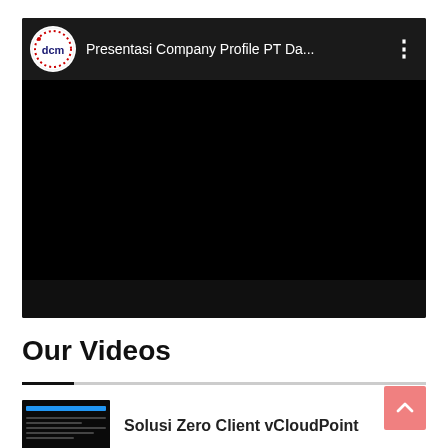[Figure (screenshot): YouTube-style embedded video player showing a black screen with a DCM channel logo, title 'Presentasi Company Profile PT Da...' and three-dot menu icon at top, and a dark bottom control bar.]
Our Videos
[Figure (screenshot): Video thumbnail showing a dark background with a blue bar and text lines, representing a video about Solusi Zero Client vCloudPoint.]
Solusi Zero Client vCloudPoint